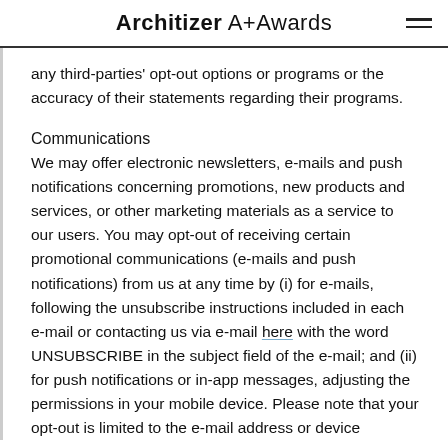Architizer A+Awards
any third-parties' opt-out options or programs or the accuracy of their statements regarding their programs.
Communications
We may offer electronic newsletters, e-mails and push notifications concerning promotions, new products and services, or other marketing materials as a service to our users. You may opt-out of receiving certain promotional communications (e-mails and push notifications) from us at any time by (i) for e-mails, following the unsubscribe instructions included in each e-mail or contacting us via e-mail here with the word UNSUBSCRIBE in the subject field of the e-mail; and (ii) for push notifications or in-app messages, adjusting the permissions in your mobile device. Please note that your opt-out is limited to the e-mail address or device